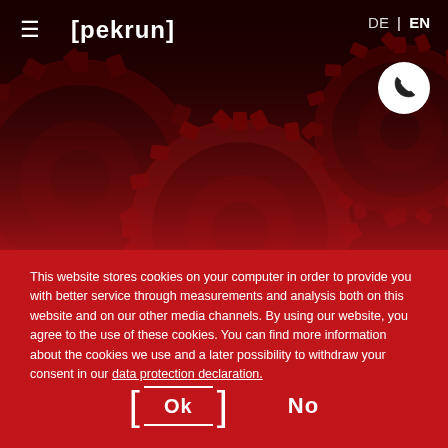DE | EN
[Figure (photo): Dark red background with large interlocking industrial gear cogs rendered in deep red and black tones]
[pekrun]
This website stores cookies on your computer in order to provide you with better service through measurements and analysis both on this website and on our other media channels. By using our website, you agree to the use of these cookies. You can find more information about the cookies we use and a later possibility to withdraw your consent in our data protection declaration.
Ok
No